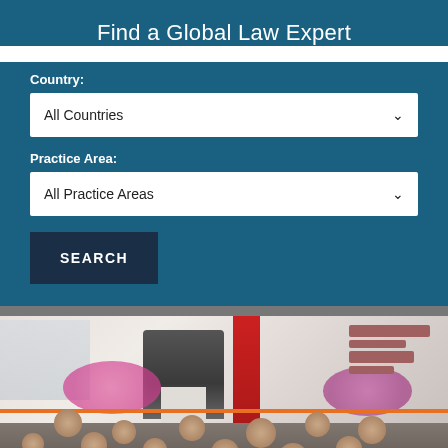Find a Global Law Expert
Country:
All Countries
Practice Area:
All Practice Areas
SEARCH
[Figure (photo): Conference presentation scene: a speaker stands at a podium in front of an audience, blurred background with red stripe banner, pink decorative elements, and event signage. Audience viewed from behind.]